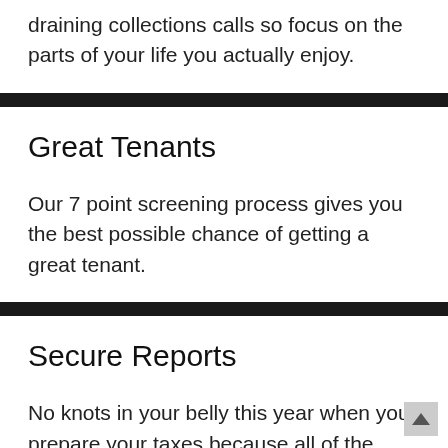draining collections calls so focus on the parts of your life you actually enjoy.
Great Tenants
Our 7 point screening process gives you the best possible chance of getting a great tenant.
Secure Reports
No knots in your belly this year when you prepare your taxes because all of the reports will be neatly delivered with your